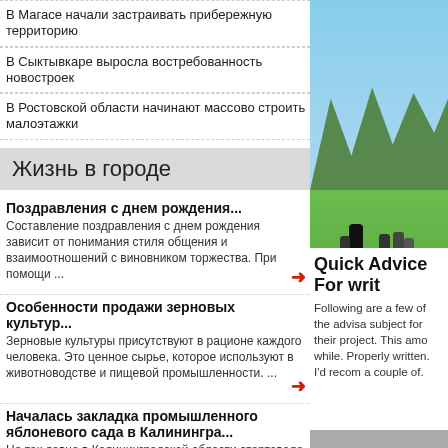В Магасе начали застраивать прибережную территорию
В Сыктывкаре выросла востребованность новостроек
В Ростовской области начинают массово строить малоэтажки
Жизнь в городе
Поздравления с днем рождения...
Составление поздравления с днем рождения зависит от понимания стиля общения и взаимоотношений с виновником торжества. При помощи ...
Особенности продажи зерновых культур...
Зерновые культуры присутствуют в рационе каждого человека. Это ценное сырье, которое используют в животноводстве и пищевой промышленности. ...
Началась закладка промышленного яблоневого сада в Калинингра...
Не так давно в Калининградской области стартовала закладка нового яблоневого промышленного сада. В закладке принял участие даже ...
[Figure (photo): Outdoor photo of people playing or exercising on a green field with trees in background and blue sky]
Quick Advice For writ
Following are a few of the advisa subject for their project. This amo while. Properly written. I'd recom a couple of.